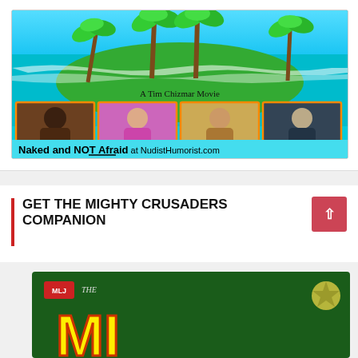[Figure (illustration): Movie promotional banner for 'Naked and NOT Afraid at NudistHumorist.com' — A Tim Chizmar Movie. Shows tropical beach scene with palm trees, ocean, green island, and four actor photos in orange-bordered boxes.]
Naked and NOT Afraid at NudistHumorist.com
GET THE MIGHTY CRUSADERS COMPANION
[Figure (photo): Book cover for The Mighty Crusaders Companion — green background with MLJ badge, yellow letters partially visible at bottom]